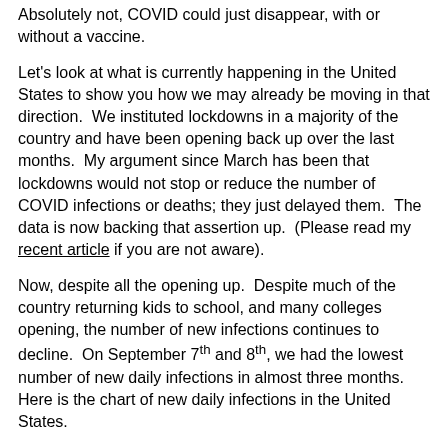Absolutely not, COVID could just disappear, with or without a vaccine.
Let's look at what is currently happening in the United States to show you how we may already be moving in that direction.  We instituted lockdowns in a majority of the country and have been opening back up over the last months.  My argument since March has been that lockdowns would not stop or reduce the number of COVID infections or deaths; they just delayed them.  The data is now backing that assertion up.  (Please read my recent article if you are not aware).
Now, despite all the opening up.  Despite much of the country returning kids to school, and many colleges opening, the number of new infections continues to decline.  On September 7th and 8th, we had the lowest number of new daily infections in almost three months.  Here is the chart of new daily infections in the United States.
Daily US Cases